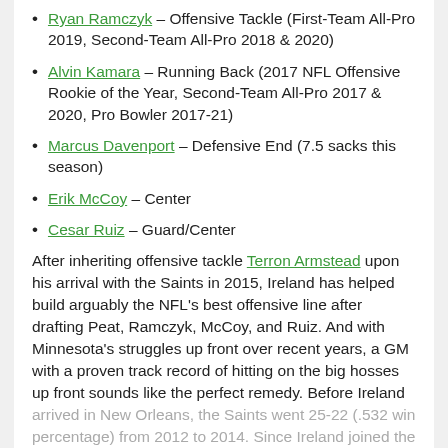Ryan Ramczyk – Offensive Tackle (First-Team All-Pro 2019, Second-Team All-Pro 2018 & 2020)
Alvin Kamara – Running Back (2017 NFL Offensive Rookie of the Year, Second-Team All-Pro 2017 & 2020, Pro Bowler 2017-21)
Marcus Davenport – Defensive End (7.5 sacks this season)
Erik McCoy – Center
Cesar Ruiz – Guard/Center
After inheriting offensive tackle Terron Armstead upon his arrival with the Saints in 2015, Ireland has helped build arguably the NFL's best offensive line after drafting Peat, Ramczyk, McCoy, and Ruiz. And with Minnesota's struggles up front over recent years, a GM with a proven track record of hitting on the big hosses up front sounds like the perfect remedy. Before Ireland arrived in New Orleans, the Saints went 25-22 (.532 win percentage) from 2012 to 2014. Since Ireland joined the